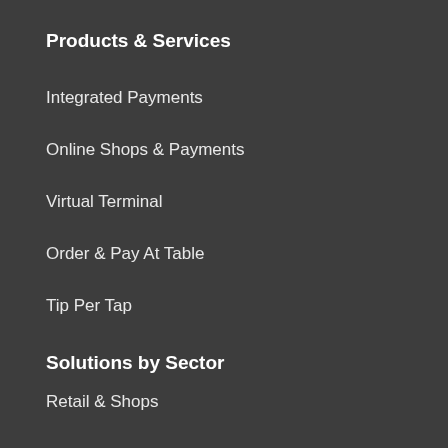Products & Services
Integrated Payments
Online Shops & Payments
Virtual Terminal
Order & Pay At Table
Tip Per Tap
Solutions by Sector
Retail & Shops
Restaurants & Pubs
Hotels
Online Businesses
[Figure (other): White pill-shaped Contact Us button and a dark blue circle, overlapping in the lower right area of the page]